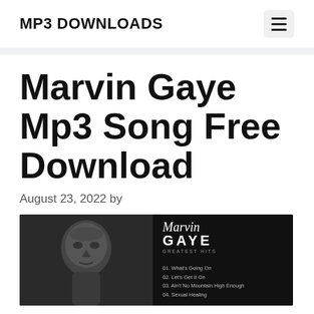MP3 DOWNLOADS
Marvin Gaye Mp3 Song Free Download
August 23, 2022 by
[Figure (photo): Black and white photo of Marvin Gaye on the left, and a Marvin Gaye greatest hits album cover listing tracks: 01. What's Going On, 02. Let's Get It On, 03. Ain't No Mountain High Enough, 04. Sexual Healing]